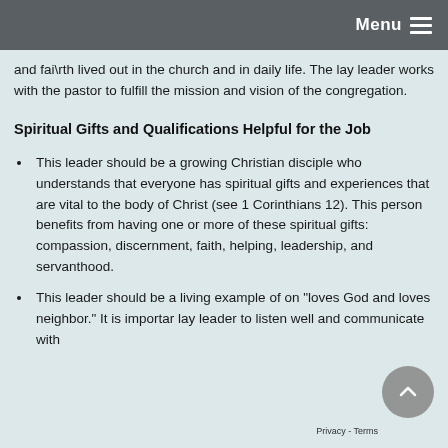Menu
and faith lived out in the church and in daily life. The lay leader works with the pastor to fulfill the mission and vision of the congregation.
Spiritual Gifts and Qualifications Helpful for the Job
This leader should be a growing Christian disciple who understands that everyone has spiritual gifts and experiences that are vital to the body of Christ (see 1 Corinthians 12). This person benefits from having one or more of these spiritual gifts: compassion, discernment, faith, helping, leadership, and servanthood.
This leader should be a living example of one who "loves God and loves neighbor." It is important for the lay leader to listen well and communicate with